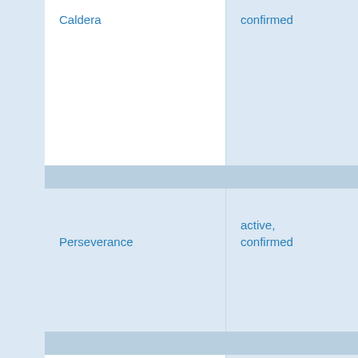|  | Name | Status | Type |
| --- | --- | --- | --- |
|  | Caldera | confirmed | volcan... |
|  | Perseverance | active, confirmed | back-a... spread center |
|  | Palinuro | active, confirmed | arc volcan... |
|  | Champagne | active, | arc |